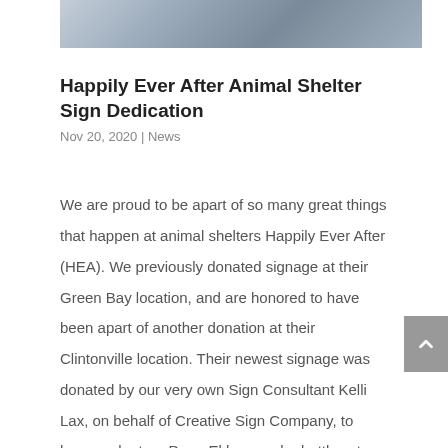[Figure (photo): Partial photo strip at the top of the page showing people at an animal shelter sign dedication event]
Happily Ever After Animal Shelter Sign Dedication
Nov 20, 2020 | News
We are proud to be apart of so many great things that happen at animal shelters Happily Ever After (HEA). We previously donated signage at their Green Bay location, and are honored to have been apart of another donation at their Clintonville location. Their newest signage was donated by our very own Sign Consultant Kelli Lax, on behalf of Creative Sign Company, to honor volunteer Dean Ekberg as he battles stage 4 pancreatic cancer.